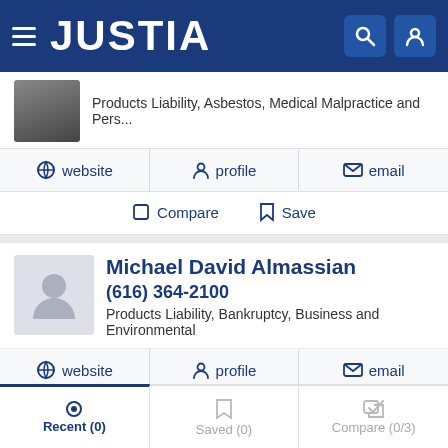JUSTIA
Products Liability, Asbestos, Medical Malpractice and Pers...
website  profile  email
Compare  Save
Michael David Almassian
(616) 364-2100
Products Liability, Bankruptcy, Business and Environmental
website  profile  email
Compare  Save
Recent (0)  Saved (0)  Compare (0/3)